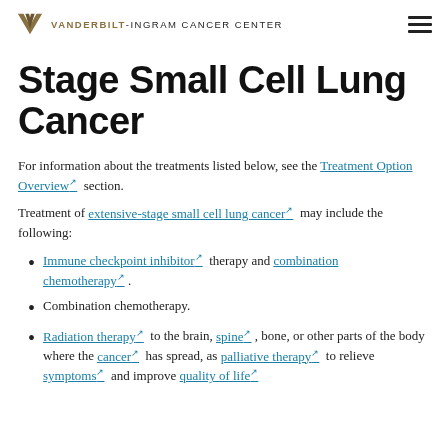VANDERBILT-INGRAM CANCER CENTER
Stage Small Cell Lung Cancer
For information about the treatments listed below, see the Treatment Option Overview section.
Treatment of extensive-stage small cell lung cancer may include the following:
Immune checkpoint inhibitor therapy and combination chemotherapy.
Combination chemotherapy.
Radiation therapy to the brain, spine, bone, or other parts of the body where the cancer has spread, as palliative therapy to relieve symptoms and improve quality of life